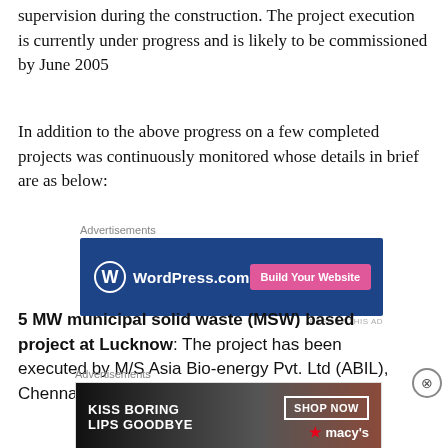supervision during the construction. The project execution is currently under progress and is likely to be commissioned by June 2005
In addition to the above progress on a few completed projects was continuously monitored whose details in brief are as below:
[Figure (other): WordPress.com advertisement banner with blue background, WordPress logo and 'Build Your Website' pink button]
5 MW municipal solid waste (MSW) based project at Lucknow: The project has been executed by M/S Asia Bio-energy Pvt. Ltd (ABIL), Chennai on Build, Own,
[Figure (other): Macy's advertisement banner with dark background, 'KISS BORING LIPS GOODBYE' text and 'SHOP NOW' button]